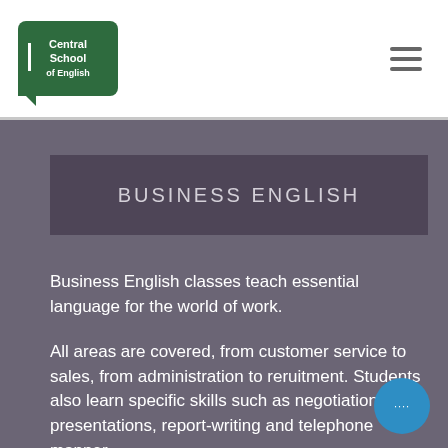[Figure (logo): Central School of English logo — green speech bubble shape with white text]
Central School of English (navigation bar with hamburger menu)
BUSINESS ENGLISH
Business English classes teach essential language for the world of work.
All areas are covered, from customer service to sales, from administration to reruitment. Students also learn specific skills such as negotiation, presentations, report-writing and telephone manner.